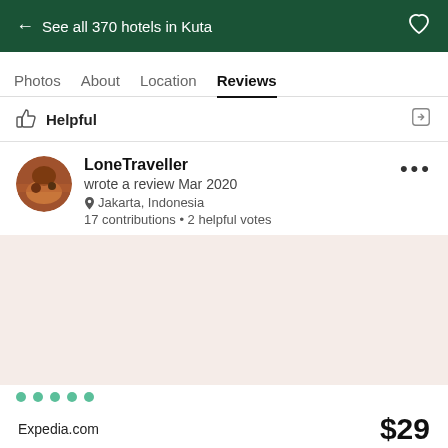← See all 370 hotels in Kuta
Photos   About   Location   Reviews
Helpful
LoneTraveller
wrote a review Mar 2020
Jakarta, Indonesia
17 contributions • 2 helpful votes
Expedia.com   $29
View deal